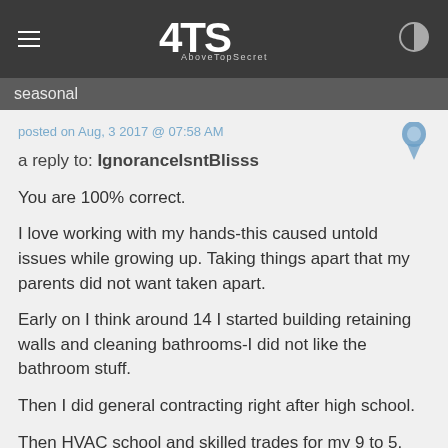ATS AboveTopSecret
seasonal
posted on Aug, 3 2017 @ 07:58 AM
a reply to: IgnoranceIsntBlisss
You are 100% correct.

I love working with my hands-this caused untold issues while growing up. Taking things apart that my parents did not want taken apart.

Early on I think around 14 I started building retaining walls and cleaning bathrooms-I did not like the bathroom stuff.

Then I did general contracting right after high school.

Then HVAC school and skilled trades for my 9 to 5.

Now I own a property dev company and have passive